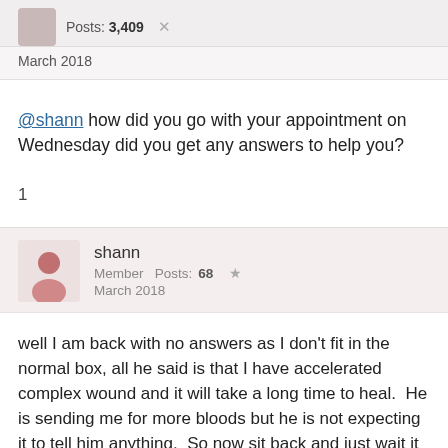Posts: 3,409
March 2018
@shann how did you go with your appointment on Wednesday did you get any answers to help you?
1
shann
Member  Posts: 68  ★
March 2018
well I am back with no answers as I don't fit in the normal box, all he said is that I have accelerated complex wound and it will take a long time to heal.  He is sending me for more bloods but he is not expecting it to tell him anything.  So now sit back and just wait it out.  Thankfully he decided